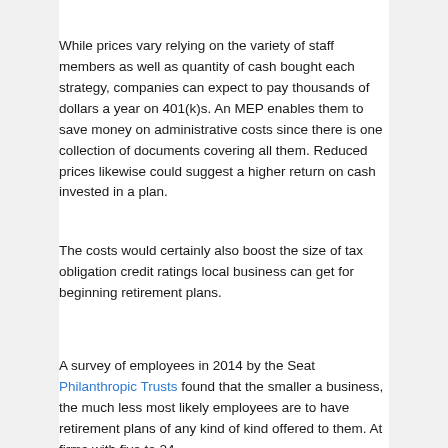While prices vary relying on the variety of staff members as well as quantity of cash bought each strategy, companies can expect to pay thousands of dollars a year on 401(k)s. An MEP enables them to save money on administrative costs since there is one collection of documents covering all them. Reduced prices likewise could suggest a higher return on cash invested in a plan.
The costs would certainly also boost the size of tax obligation credit ratings local business can get for beginning retirement plans.
A survey of employees in 2014 by the Seat Philanthropic Trusts found that the smaller a business, the much less most likely employees are to have retirement plans of any kind of kind offered to them. At firms with five to 24